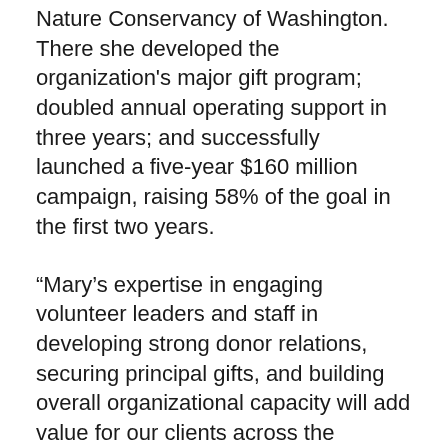Nature Conservancy of Washington. There she developed the organization's major gift program; doubled annual operating support in three years; and successfully launched a five-year $160 million campaign, raising 58% of the goal in the first two years.
“Mary’s expertise in engaging volunteer leaders and staff in developing strong donor relations, securing principal gifts, and building overall organizational capacity will add value for our clients across the country,” said Brenda B. Asare, president and CEO of Alford Group.
In addition to The Nature Conservancy, Kaufman-Cranney has held leadership positions for both the Seattle Opera and the YMCA of Greater Seattle. Serving as the director of development for the Seattle Opera, Kaufman-Cranney reinvigorated a $10 million annual campaign and led a $75 million campaign, raising over a...